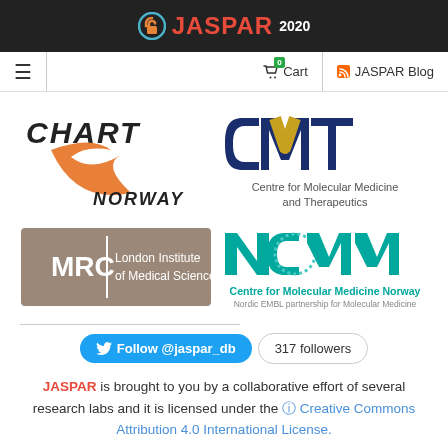JASPAR 2020
[Figure (logo): JASPAR 2020 logo with open-access padlock icon in orange/teal, text JASPAR in red and 2020 in white on dark background]
[Figure (logo): Navigation bar with hamburger menu, Cart with badge 0, and JASPAR Blog link]
[Figure (logo): CHART Norway logo - orange stylized arrow with NORWAY text]
[Figure (logo): CMMT logo - Centre for Molecular Medicine and Therapeutics, dark blue and gold wave design]
[Figure (logo): MRC London Institute of Medical Sciences - brown/taupe rectangle logo]
[Figure (logo): NCMM - Centre for Molecular Medicine Norway, Nordic EMBL partnership for Molecular Medicine - teal logo]
Follow @jaspar_db  317 followers
JASPAR is brought to you by a collaborative effort of several research labs and it is licensed under the Creative Commons Attribution 4.0 International License.